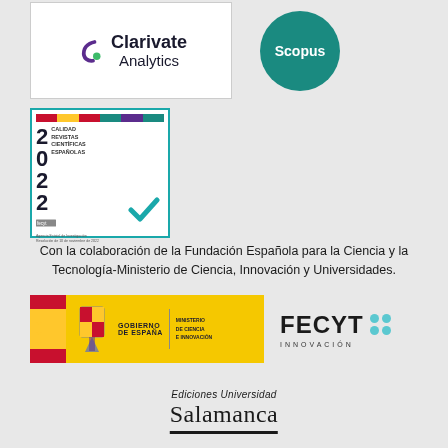[Figure (logo): Clarivate Analytics logo in white box]
[Figure (logo): Scopus logo in teal circle]
[Figure (logo): FECYT Calidad Revistas Científicas Españolas 2022 quality seal badge]
Con la colaboración de la Fundación Española para la Ciencia y la Tecnología-Ministerio de Ciencia, Innovación y Universidades.
[Figure (logo): Gobierno de España - Ministerio de Ciencia e Innovación banner logo]
[Figure (logo): FECYT Innovación logo with teal dots]
[Figure (logo): Ediciones Universidad Salamanca logo]